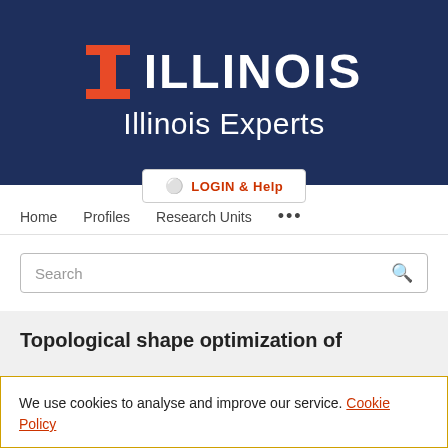[Figure (logo): University of Illinois Illinois Experts portal header with orange block-I logo and white text on navy background, with LOGIN & Help button]
Home   Profiles   Research Units   ...
Search
Topological shape optimization of
We use cookies to analyse and improve our service. Cookie Policy